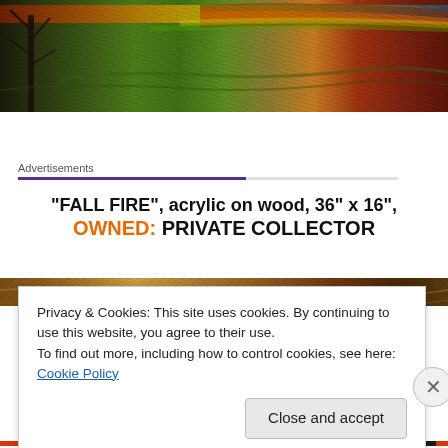[Figure (photo): Painting: Fall Fire, acrylic on wood — dark landscape with autumn colors, red/orange/green/brown tones, tree silhouette on left]
Advertisements
“FALL FIRE”, acrylic on wood, 36” x 16”, OWNED: PRIVATE COLLECTOR
[Figure (photo): Bottom portion of the Fall Fire painting — warm brown, orange and earthy tones]
Privacy & Cookies: This site uses cookies. By continuing to use this website, you agree to their use.
To find out more, including how to control cookies, see here: Cookie Policy
Close and accept